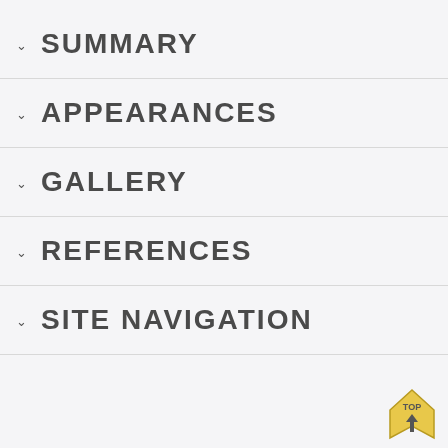SUMMARY
APPEARANCES
GALLERY
REFERENCES
SITE NAVIGATION
[Figure (illustration): Yellow 'TOP' button icon with arrow pointing upward, positioned bottom-right corner]